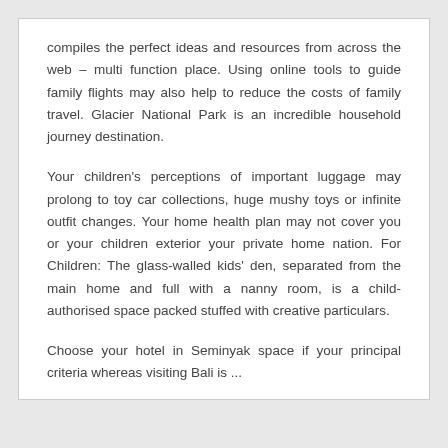compiles the perfect ideas and resources from across the web – multi function place. Using online tools to guide family flights may also help to reduce the costs of family travel. Glacier National Park is an incredible household journey destination.
Your children's perceptions of important luggage may prolong to toy car collections, huge mushy toys or infinite outfit changes. Your home health plan may not cover you or your children exterior your private home nation. For Children: The glass-walled kids' den, separated from the main home and full with a nanny room, is a child-authorised space packed stuffed with creative particulars.
Choose your hotel in Seminyak space if your principal criteria whereas visiting Bali is ...